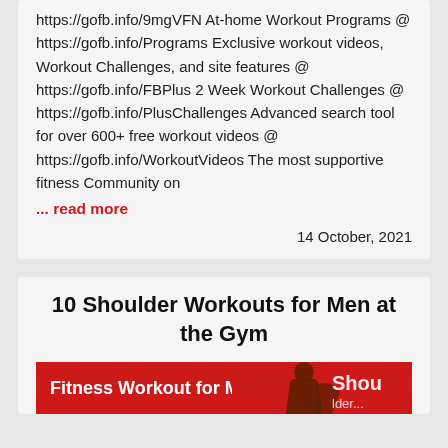https://gofb.info/9mgVFN At-home Workout Programs @ https://gofb.info/Programs Exclusive workout videos, Workout Challenges, and site features @ https://gofb.info/FBPlus 2 Week Workout Challenges @ https://gofb.info/PlusChallenges Advanced search tool for over 600+ free workout videos @ https://gofb.info/WorkoutVideos The most supportive fitness Community on
... read more
14 October, 2021
10 Shoulder Workouts for Men at the Gym
[Figure (illustration): Red banner with white text 'Fitness Workout for Men' and a partial image of a person showing shoulder/arm, with partial text 'Shou...' visible on the right side]